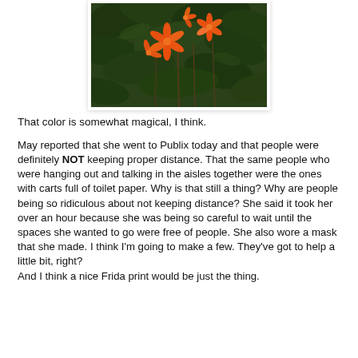[Figure (photo): A photograph of orange flowers with green leaves in a garden setting, showing bright orange blooms against dark green foliage.]
That color is somewhat magical, I think.
May reported that she went to Publix today and that people were definitely NOT keeping proper distance. That the same people who were hanging out and talking in the aisles together were the ones with carts full of toilet paper. Why is that still a thing? Why are people being so ridiculous about not keeping distance? She said it took her over an hour because she was being so careful to wait until the spaces she wanted to go were free of people. She also wore a mask that she made. I think I'm going to make a few. They've got to help a little bit, right?
And I think a nice Frida print would be just the thing.